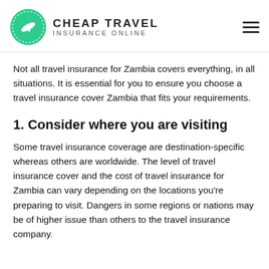CHEAP TRAVEL INSURANCE ONLINE
Not all travel insurance for Zambia covers everything, in all situations. It is essential for you to ensure you choose a travel insurance cover Zambia that fits your requirements.
1. Consider where you are visiting
Some travel insurance coverage are destination-specific whereas others are worldwide. The level of travel insurance cover and the cost of travel insurance for Zambia can vary depending on the locations you're preparing to visit. Dangers in some regions or nations may be of higher issue than others to the travel insurance company.